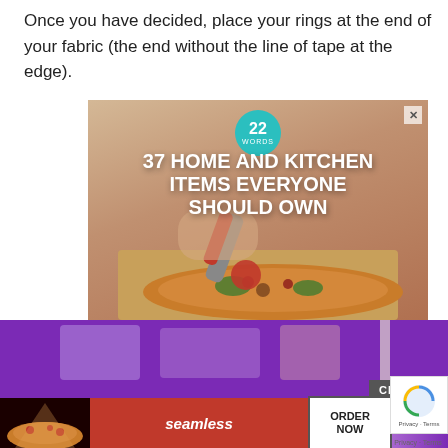Once you have decided, place your rings at the end of your fabric (the end without the line of tape at the edge).
[Figure (screenshot): Advertisement banner showing '37 HOME AND KITCHEN ITEMS EVERYONE SHOULD OWN' with a teal '22 WORDS' badge and a photo of a pizza being cut with a red pizza cutter. A close X button is in the top right corner.]
[Figure (screenshot): Second advertisement area showing a purple background with a 'CLOSE' button, reCAPTCHA widget, and a Seamless food delivery banner at the bottom with pizza image, 'seamless' logo, and 'ORDER NOW' button. Privacy Terms text visible.]